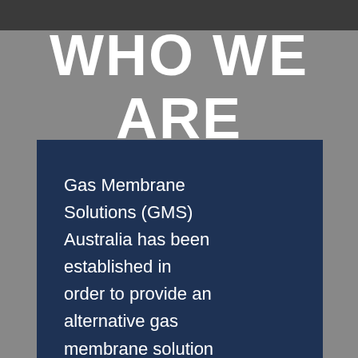WHO WE ARE
Gas Membrane Solutions (GMS) Australia has been established in order to provide an alternative gas membrane solution for clients who are confronted with a